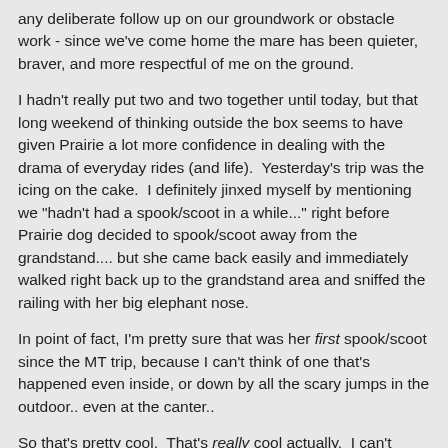any deliberate follow up on our groundwork or obstacle work - since we've come home the mare has been quieter, braver, and more respectful of me on the ground.
I hadn't really put two and two together until today, but that long weekend of thinking outside the box seems to have given Prairie a lot more confidence in dealing with the drama of everyday rides (and life).  Yesterday's trip was the icing on the cake.  I definitely jinxed myself by mentioning we "hadn't had a spook/scoot in a while..." right before Prairie dog decided to spook/scoot away from the grandstand.... but she came back easily and immediately walked right back up to the grandstand area and sniffed the railing with her big elephant nose.
In point of fact, I'm pretty sure that was her first spook/scoot since the MT trip, because I can't think of one that's happened even inside, or down by all the scary jumps in the outdoor.. even at the canter..
So that's pretty cool.  That's really cool actually.  I can't remember if I've ever had a horse that was as calm and